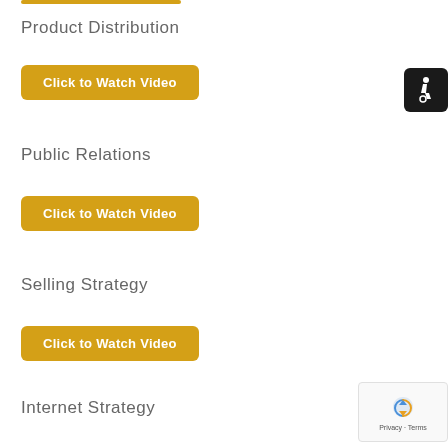Product Distribution
Click to Watch Video
Public Relations
Click to Watch Video
Selling Strategy
Click to Watch Video
Internet Strategy